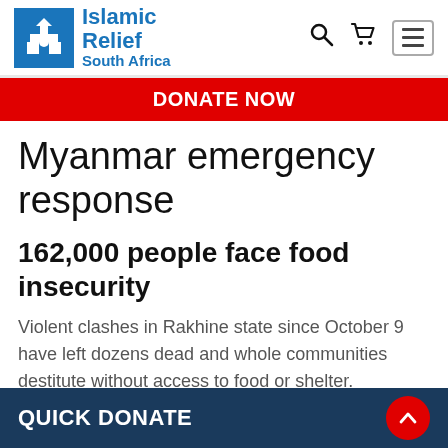Islamic Relief South Africa
DONATE NOW
Myanmar emergency response
162,000 people face food insecurity
Violent clashes in Rakhine state since October 9 have left dozens dead and whole communities destitute without access to food or shelter.
QUICK DONATE